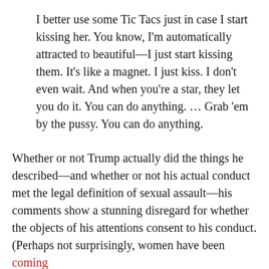I better use some Tic Tacs just in case I start kissing her. You know, I'm automatically attracted to beautiful—I just start kissing them. It's like a magnet. I just kiss. I don't even wait. And when you're a star, they let you do it. You can do anything. … Grab 'em by the pussy. You can do anything.
Whether or not Trump actually did the things he described—and whether or not his actual conduct met the legal definition of sexual assault—his comments show a stunning disregard for whether the objects of his attentions consent to his conduct. (Perhaps not surprisingly, women have been coming